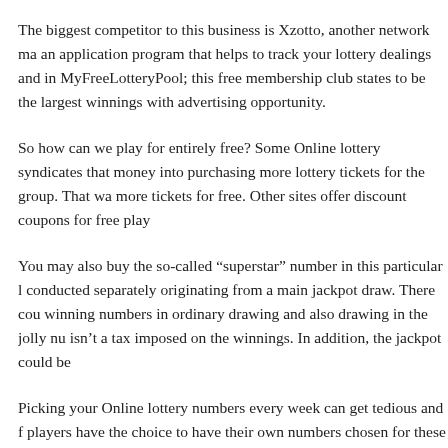The biggest competitor to this business is Xzotto, another network ma an application program that helps to track your lottery dealings and in MyFreeLotteryPool; this free membership club states to be the largest winnings with advertising opportunity.
So how can we play for entirely free? Some Online lottery syndicates that money into purchasing more lottery tickets for the group. That wa more tickets for free. Other sites offer discount coupons for free play
You may also buy the so-called “superstar” number in this particular l conducted separately originating from a main jackpot draw. There cou winning numbers in ordinary drawing and also drawing in the jolly nu isn’t a tax imposed on the winnings. In addition, the jackpot could be
Picking your Online lottery numbers every week can get tedious and f players have the choice to have their own numbers chosen for these in allow the computer pick their numbers. And still have switch from sid folks.